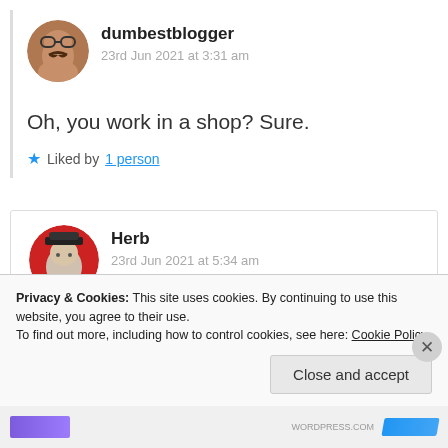[Figure (photo): Round avatar of user dumbestblogger - person with hat/glasses]
dumbestblogger
23rd Jun 2021 at 3:31 am
Oh, you work in a shop? Sure.
Liked by 1 person
[Figure (photo): Round avatar of user Herb - person with hat and light shirt]
Herb
23rd Jun 2021 at 5:34 am
Privacy & Cookies: This site uses cookies. By continuing to use this website, you agree to their use.
To find out more, including how to control cookies, see here: Cookie Policy
Close and accept